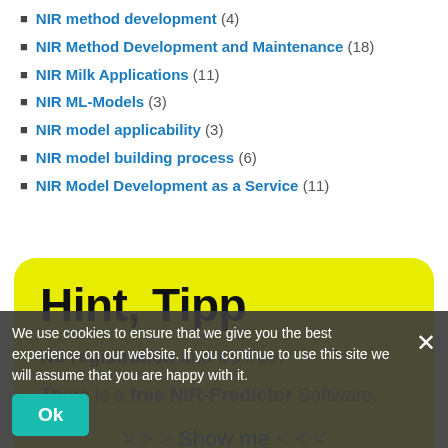NIR method development (4)
NIR Method Development and Maintenance (18)
NIR Milk Applications (11)
NIR ML-Models (3)
NIR model applicability (3)
NIR model building process (6)
NIR Model Development as a Service (11)
[Figure (screenshot): Yellow rounded popup with title 'Hint, Tipp', subtitle 'No registration and it's free!', body text 'There is a free NIR-Predictor Software.', and link '> > > Show me < < <']
NIR Optimierung (4)
NIR Optimization (5)
NIR optimizer (41)
NIR Outsourcing
NIR Prediction (3)
NIR prediction histogram
NIR prediction in food industry (9)
We use cookies to ensure that we give you the best experience on our website. If you continue to use this site we will assume that you are happy with it.